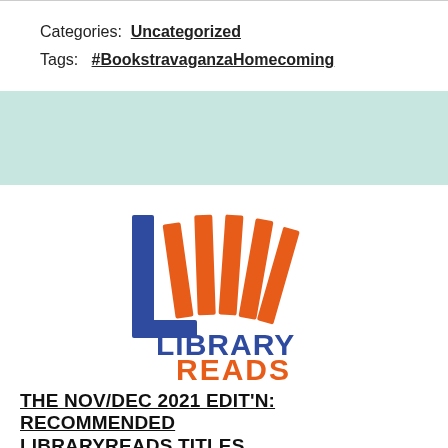Categories:  Uncategorized
Tags:   #BookstravaganzaHomecoming
[Figure (logo): LibraryReads logo: blue and orange book spines forming an L shape with the text LIBRARY READS]
THE NOV/DEC 2021 EDIT'N: RECOMMENDED LIBRARYREADS TITLES